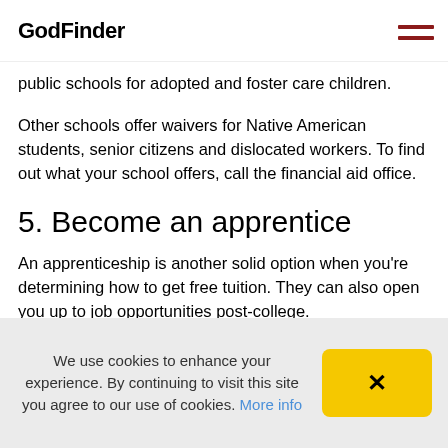GodFinder
public schools for adopted and foster care children.
Other schools offer waivers for Native American students, senior citizens and dislocated workers. To find out what your school offers, call the financial aid office.
5. Become an apprentice
An apprenticeship is another solid option when you're determining how to get free tuition. They can also open you up to job opportunities post-college.
Overall, your average apprenticeship program will take 1-6 years. You will probably be required to put in that time along with at least 2,000 hours of field work annually. The good news is that there are apprenticeships in more than 1,000 occupations, which can give you
We use cookies to enhance your experience. By continuing to visit this site you agree to our use of cookies. More info